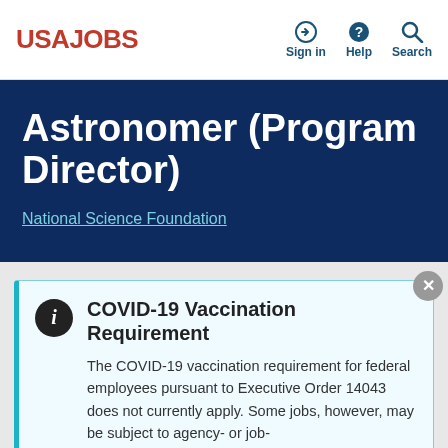USAJOBS — Sign in, Help, Search
Astronomer (Program Director)
National Science Foundation
COVID-19 Vaccination Requirement
The COVID-19 vaccination requirement for federal employees pursuant to Executive Order 14043 does not currently apply. Some jobs, however, may be subject to agency- or job-